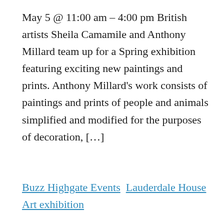May 5 @ 11:00 am – 4:00 pm British artists Sheila Camamile and Anthony Millard team up for a Spring exhibition featuring exciting new paintings and prints. Anthony Millard's work consists of paintings and prints of people and animals simplified and modified for the purposes of decoration, […]
Buzz Highgate Events  Lauderdale House  Art exhibition